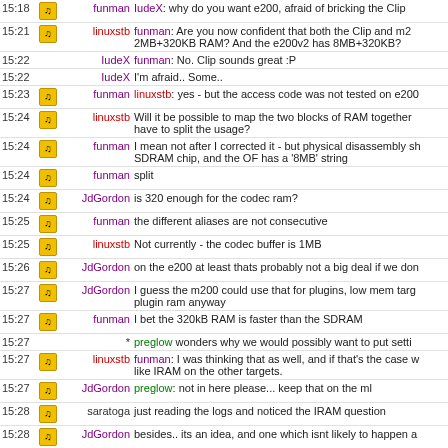| time | icon | nick | message |
| --- | --- | --- | --- |
| 15:18 | [icon] | funman | IudeX: why do you want e200, afraid of bricking the Clip |
| 15:21 | [icon] | linuxstb | funman: Are you now confident that both the Clip and m2 2MB+320KB RAM? And the e200v2 has 8MB+320KB? |
| 15:22 |  | IudeX | funman: No. Clip sounds great :P |
| 15:22 |  | IudeX | I'm afraid.. Some.. |
| 15:23 | [icon] | funman | linuxstb: yes - but the access code was not tested on e200 |
| 15:24 | [icon] | linuxstb | Will it be possible to map the two blocks of RAM together have to split the usage? |
| 15:24 | [icon] | funman | I mean not after I corrected it - but physical disassembly sh SDRAM chip, and the OF has a '8MB' string |
| 15:24 | [icon] | funman | split |
| 15:24 | [icon] | JdGordon | is 320 enough for the codec ram? |
| 15:25 | [icon] | funman | the different aliases are not consecutive |
| 15:25 | [icon] | linuxstb | Not currently - the codec buffer is 1MB |
| 15:26 | [icon] | JdGordon | on the e200 at least thats probably not a big deal if we don |
| 15:27 | [icon] | JdGordon | I guess the m200 could use that for plugins, low mem targ plugin ram anyway |
| 15:27 | [icon] | funman | I bet the 320kB RAM is faster than the SDRAM |
| 15:27 |  | * | preglow wonders why we would possibly want to put setti |
| 15:27 | [icon] | linuxstb | funman: I was thinking that as well, and if that's the case w like IRAM on the other targets. |
| 15:27 | [icon] | JdGordon | preglow: not in here please... keep that on the ml |
| 15:28 | [icon] | saratoga | just reading the logs and noticed the IRAM question |
| 15:28 | [icon] | JdGordon | besides.. its an idea, and one which isnt likely to happen a |